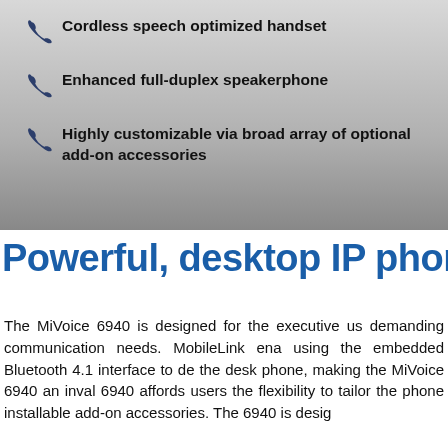Cordless speech optimized handset
Enhanced full-duplex speakerphone
Highly customizable via broad array of optional add-on accessories
Powerful, desktop IP phone de
The MiVoice 6940 is designed for the executive us demanding communication needs. MobileLink ena using the embedded Bluetooth 4.1 interface to de the desk phone, making the MiVoice 6940 an inval 6940 affords users the flexibility to tailor the phone installable add-on accessories. The 6940 is desig